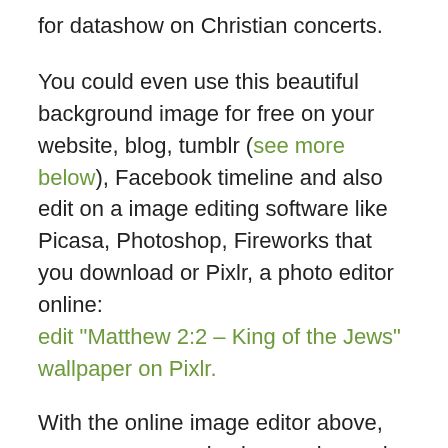for datashow on Christian concerts.
You could even use this beautiful background image for free on your website, blog, tumblr (see more below), Facebook timeline and also edit on a image editing software like Picasa, Photoshop, Fireworks that you download or Pixlr, a photo editor online: edit "Matthew 2:2 – King of the Jews" wallpaper on Pixlr.
With the online image editor above, you can crop, resize in any size and resolutions you'd prefer so it will fit on the screen of any device, like smartphone, tablet, iPad, etc. You can also make your background sephia, black and white, put text, rotate, red eye removal, handle the image the way you like it.
Matthew 2:2 – King of the Jews christian wallpaper is tagged with some tags like: biblical, christian, godly...